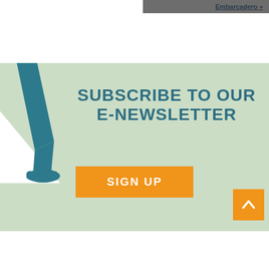Embarcadero »
[Figure (illustration): Light green newsletter signup section with a teal illustrated leg/walking figure on the left side, orange SIGN UP button, and orange up-arrow button in bottom right corner]
SUBSCRIBE TO OUR E-NEWSLETTER
SIGN UP